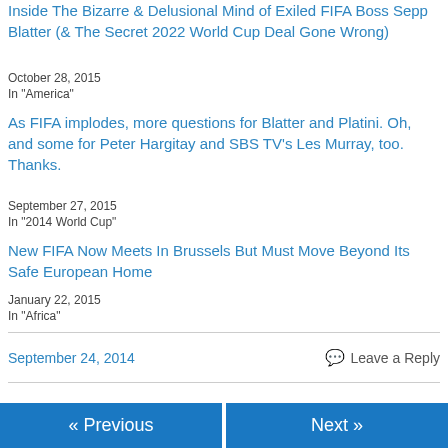Inside The Bizarre & Delusional Mind of Exiled FIFA Boss Sepp Blatter (& The Secret 2022 World Cup Deal Gone Wrong)
October 28, 2015
In "America"
As FIFA implodes, more questions for Blatter and Platini. Oh, and some for Peter Hargitay and SBS TV’s Les Murray, too. Thanks.
September 27, 2015
In "2014 World Cup"
New FIFA Now Meets In Brussels But Must Move Beyond Its Safe European Home
January 22, 2015
In "Africa"
September 24, 2014
Leave a Reply
« Previous | Next »